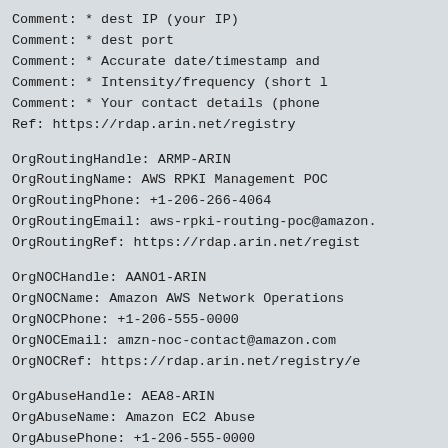Comment:        * dest IP (your IP)
Comment:        * dest port
Comment:        * Accurate date/timestamp and
Comment:        * Intensity/frequency (short l
Comment:        * Your contact details (phone
Ref:            https://rdap.arin.net/registry
OrgRoutingHandle: ARMP-ARIN
OrgRoutingName:   AWS RPKI Management POC
OrgRoutingPhone:  +1-206-266-4064
OrgRoutingEmail:  aws-rpki-routing-poc@amazon.
OrgRoutingRef:    https://rdap.arin.net/regist
OrgNOCHandle: AANO1-ARIN
OrgNOCName:   Amazon AWS Network Operations
OrgNOCPhone:  +1-206-555-0000
OrgNOCEmail:  amzn-noc-contact@amazon.com
OrgNOCRef:    https://rdap.arin.net/registry/e
OrgAbuseHandle: AEA8-ARIN
OrgAbuseName:   Amazon EC2 Abuse
OrgAbusePhone:  +1-206-555-0000
OrgAbuseEmail:  ...